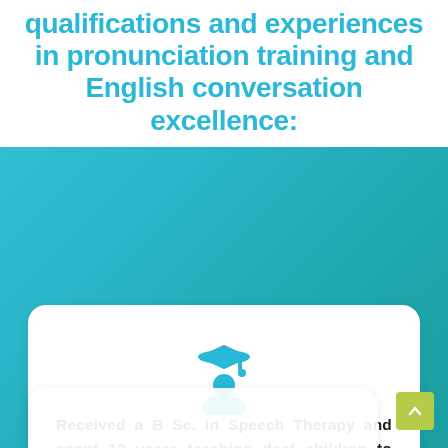qualifications and experiences in pronunciation training and English conversation excellence:
[Figure (illustration): Blue graduation cap icon on a blue person/student silhouette icon]
Received a B Sc. in Speech Therapy and spent 12 years teaching deaf children to speak so others could understand them.